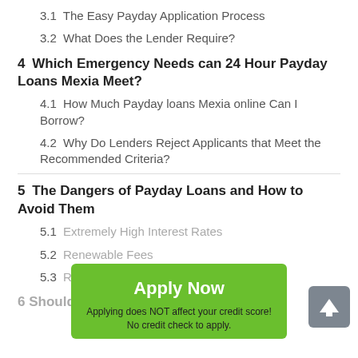3.1  The Easy Payday Application Process
3.2  What Does the Lender Require?
4  Which Emergency Needs can 24 Hour Payday Loans Mexia Meet?
4.1  How Much Payday loans Mexia online Can I Borrow?
4.2  Why Do Lenders Reject Applicants that Meet the Recommended Criteria?
5  The Dangers of Payday Loans and How to Avoid Them
5.1  Extremely High Interest Rates
5.2  Renewable Fees
5.3  Rollover...
6  Should You Take Payday Loans...
[Figure (other): Green 'Apply Now' button overlay with text 'Applying does NOT affect your credit score! No credit check to apply.']